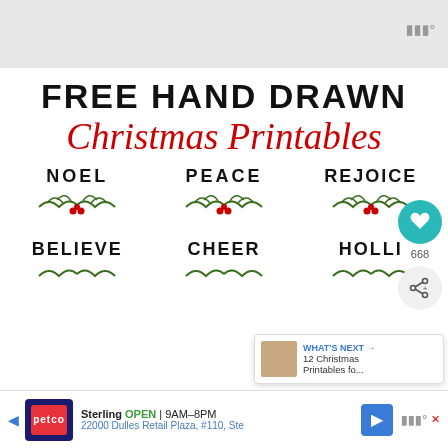[Figure (screenshot): Top gray navigation/header banner of a website]
FREE HAND DRAWN
Christmas Printables
[Figure (illustration): Three Christmas word printables: NOEL, PEACE, REJOICE each with hand-drawn holly decoration below]
[Figure (illustration): Three Christmas word printables partially visible: BELIEVE, CHEER, HOLLI with holly decorations]
[Figure (screenshot): Bottom advertisement banner for Petco Sterling store showing OPEN 9AM-8PM at 22000 Dulles Retail Plaza #110 Ste]
[Figure (infographic): Right side panel showing heart/like button with 668 count, share button, and What's Next card showing 12 Christmas Printables fo...]